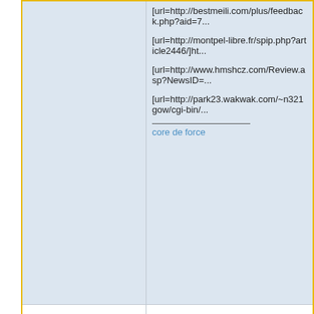[url=http://bestmeili.com/plus/feedback.php?aid=7...
[url=http://montpel-libre.fr/spip.php?article2446/]ht...
[url=http://www.hmshcz.com/Review.asp?NewsID=...
[url=http://park23.wakwak.com/~n321gow/cgi-bin/...
core de force
Back to top
Forum E-Blocks Forum Index -> General Disc
Page 1 of 1